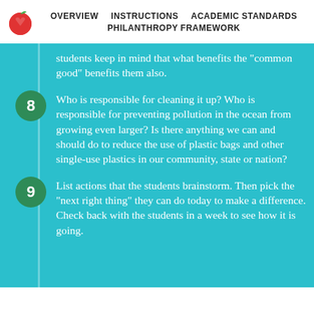OVERVIEW  INSTRUCTIONS  ACADEMIC STANDARDS  PHILANTHROPY FRAMEWORK
students keep in mind that what benefits the "common good" benefits them also.
8  Who is responsible for cleaning it up? Who is responsible for preventing pollution in the ocean from growing even larger? Is there anything we can and should do to reduce the use of plastic bags and other single-use plastics in our community, state or nation?
9  List actions that the students brainstorm. Then pick the "next right thing" they can do today to make a difference. Check back with the students in a week to see how it is going.